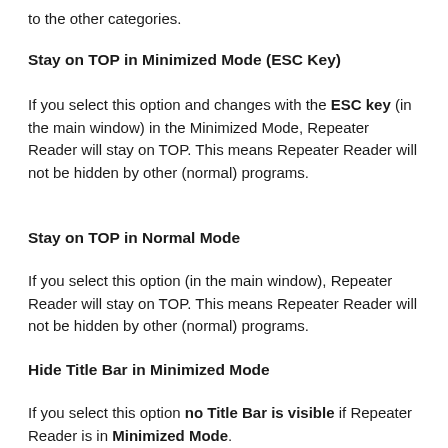to the other categories.
Stay on TOP in Minimized Mode (ESC Key)
If you select this option and changes with the ESC key (in the main window) in the Minimized Mode, Repeater Reader will stay on TOP. This means Repeater Reader will not be hidden by other (normal) programs.
Stay on TOP in Normal Mode
If you select this option (in the main window), Repeater Reader will stay on TOP. This means Repeater Reader will not be hidden by other (normal) programs.
Hide Title Bar in Minimized Mode
If you select this option no Title Bar is visible if Repeater Reader is in Minimized Mode.